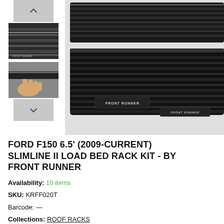[Figure (photo): Product image of Ford F150 Slimline II Load Bed Rack Kit by Front Runner, showing black aluminum rack components close up with FRONT RUNNER branding visible. Thumbnail strip on left with up/down navigation arrows and two thumbnail images.]
FORD F150 6.5' (2009-CURRENT) SLIMLINE II LOAD BED RACK KIT - BY FRONT RUNNER
Availability: 10 items
SKU: KRFF020T
Barcode: —
Collections: ROOF RACKS
Product type: —